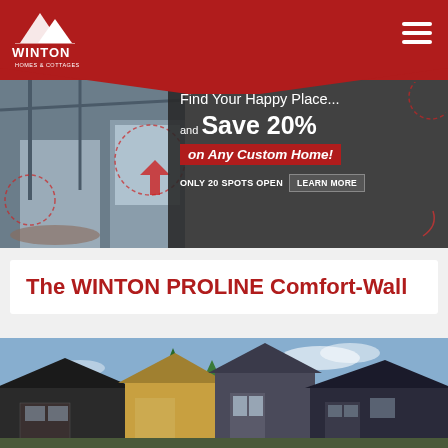[Figure (logo): Winton Homes & Cottages logo with mountain peaks icon, white text on dark red header background]
[Figure (screenshot): Website screenshot showing Winton Homes & Cottages page with promotional banner 'Find Your Happy Place... and Save 20% on Any Custom Home! ONLY 20 SPOTS OPEN LEARN MORE' over interior home photo]
The WINTON PROLINE Comfort-Wall
[Figure (photo): Exterior photo of multiple modern homes with dark siding, garages, and trees against a blue sky]